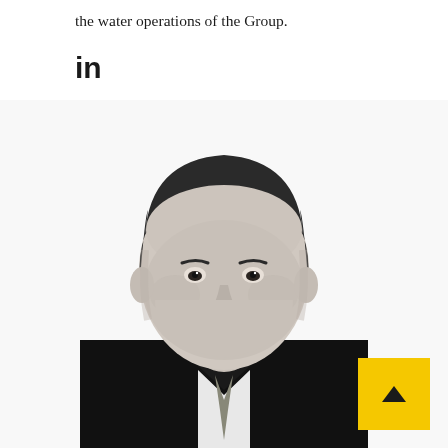the water operations of the Group.
[Figure (logo): LinkedIn 'in' logo icon in black]
[Figure (photo): Black and white portrait photograph of a middle-aged man in a dark suit and tie, smiling at the camera]
[Figure (other): Yellow square button with upward-pointing arrow (scroll-to-top button)]